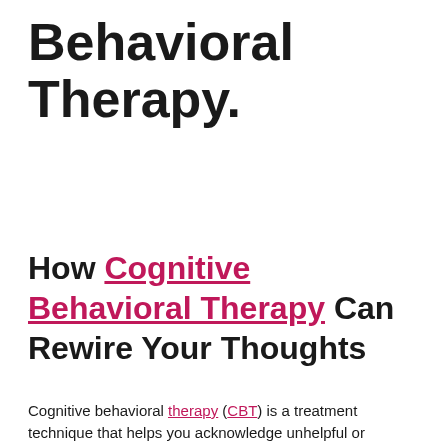Behavioral Therapy.
How Cognitive Behavioral Therapy Can Rewire Your Thoughts
Cognitive behavioral therapy (CBT) is a treatment technique that helps you acknowledge unhelpful or unfavorable thoughts, habits, or patterns. No one specialist aid